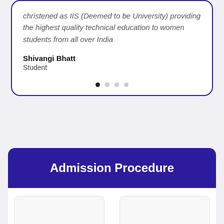christened as IIS (Deemed to be University) providing the highest quality technical education to women students from all over India
Shivangi Bhatt
Student
Admission Procedure